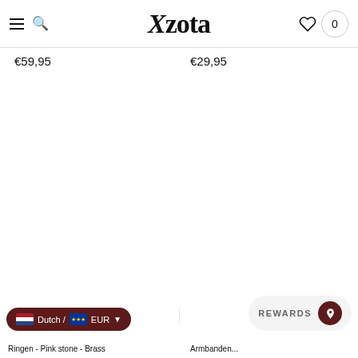Xzota — navigation header with menu, search, logo, heart icon, cart (0)
€59,95
€29,95
SOLD OUT
[Figure (screenshot): Empty white product image area for two products side by side]
Dutch / EUR
REWARDS
Ringen - Pink stone - Brass
Armbanden...